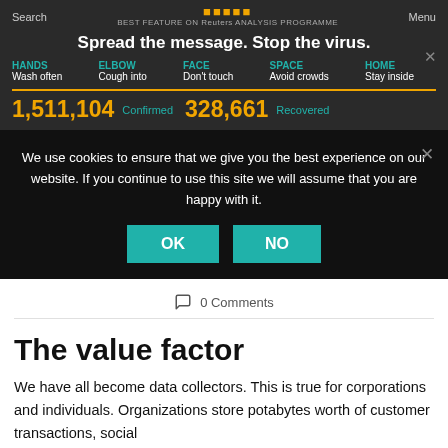Search | [LOGO] | Menu
Spread the message. Stop the virus.
HANDS Wash often | ELBOW Cough into | FACE Don't touch | SPACE Avoid crowds | HOME Stay inside
1,511,104 Confirmed | 328,661 Recovered
We use cookies to ensure that we give you the best experience on our website. If you continue to use this site we will assume that you are happy with it.
OK | NO
0 Comments
The value factor
We have all become data collectors. This is true for corporations and individuals. Organizations store potabytes worth of customer transactions, social